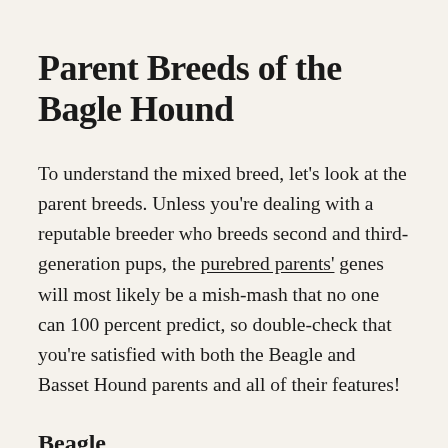Parent Breeds of the Bagle Hound
To understand the mixed breed, let's look at the parent breeds. Unless you're dealing with a reputable breeder who breeds second and third-generation pups, the purebred parents' genes will most likely be a mish-mash that no one can 100 percent predict, so double-check that you're satisfied with both the Beagle and Basset Hound parents and all of their features!
Beagle
Beagles are popular hunting dogs that were originally